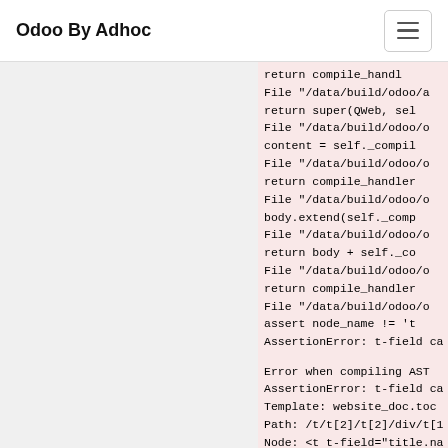Odoo By Adhoc
return compile_handler...
  File "/data/build/odoo/a...
    return super(QWeb, sel...
  File "/data/build/odoo/o...
    content = self._compil...
  File "/data/build/odoo/o...
    return compile_handler...
  File "/data/build/odoo/o...
    body.extend(self._comp...
  File "/data/build/odoo/o...
    return body + self._co...
  File "/data/build/odoo/o...
    return compile_handler...
  File "/data/build/odoo/o...
    assert node_name != 't...
AssertionError: t-field ca...

Error when compiling AST
AssertionError: t-field ca...
Template: website_doc.toc...
Path: /t/t[2]/t[2]/div/t[1...
Node: <t t-field="title.na...